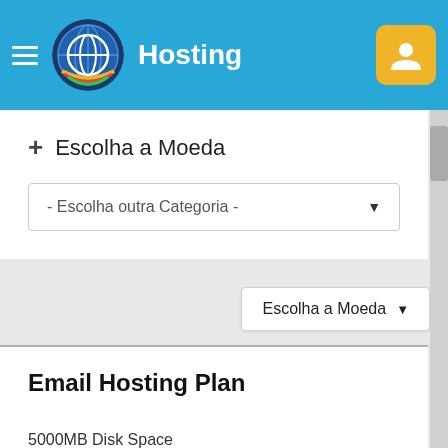Hosting
+ Escolha a Moeda
- Escolha outra Categoria -
Escolha a Moeda ▼
Email Hosting Plan
5000MB Disk Space
15000MB Monthly Traffic
65 Email Accounts